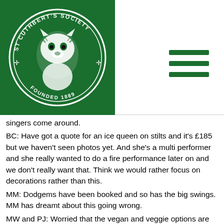[Figure (logo): St Cuthbert's Society circular logo with tiger, white on dark green background, text reading ST CUTHBERT'S SOCIETY FOUNDED 1889]
singers come around.
BC: Have got a quote for an ice queen on stilts and it's £185 but we haven't seen photos yet. And she's a multi performer and she really wanted to do a fire performance later on and we don't really want that. Think we would rather focus on decorations rather than this.
MM: Dodgems have been booked and so has the big swings. MM has dreamt about this going wrong.
MW and PJ: Worried that the vegan and veggie options are not enough to fill someone who is drinking.
MM: It seems like there is going to be a pretty standard menu.
ACTION POINT: GZ is going to be in charge of making a snapchat filter.
JO: Ping-pong?